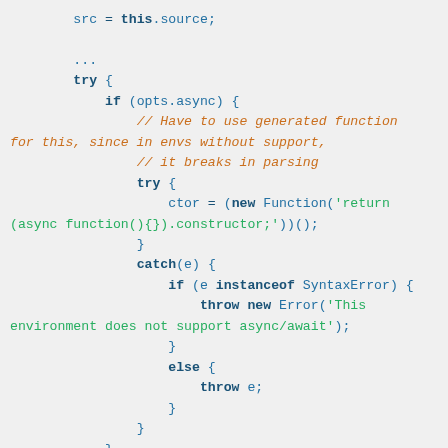[Figure (screenshot): JavaScript source code snippet showing try/catch block with async function constructor detection and error handling]